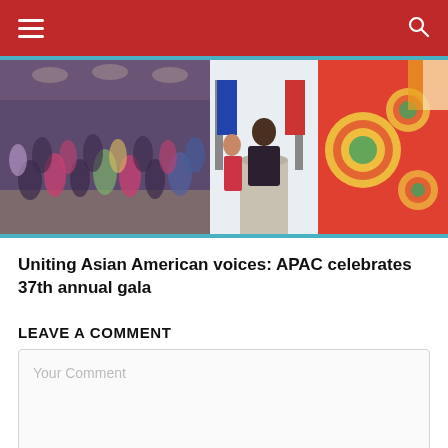Navigation bar with hamburger menu and search icon
[Figure (photo): Three-panel photo strip: left panel shows a large crowd of people dancing or celebrating at a gala event; middle panel shows a man speaking at a podium with flags and a woman beside him; right panel shows colorful embroidered or decorated traditional items.]
Uniting Asian American voices: APAC celebrates 37th annual gala
LEAVE A COMMENT
Your Comment